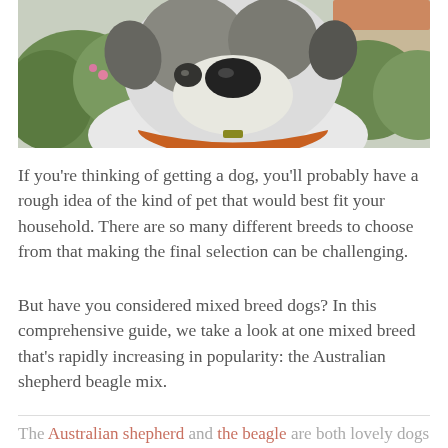[Figure (photo): Close-up photograph of a mixed breed dog (appears to be a white/grey dog) looking up at the camera, with garden greenery and pink flowers and a building with terracotta roof in the background. The dog wears an orange collar.]
If you’re thinking of getting a dog, you’ll probably have a rough idea of the kind of pet that would best fit your household. There are so many different breeds to choose from that making the final selection can be challenging.
But have you considered mixed breed dogs? In this comprehensive guide, we take a look at one mixed breed that’s rapidly increasing in popularity: the Australian shepherd beagle mix.
The Australian shepherd and the beagle are both lovely dogs in their own right. So, is a cross between these two